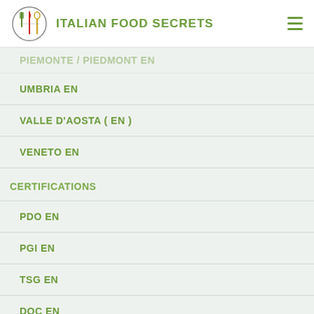ITALIAN FOOD SECRETS
PIEMONTE / PIEDMONT EN
UMBRIA EN
VALLE D'AOSTA ( EN )
VENETO EN
CERTIFICATIONS
PDO EN
PGI EN
TSG EN
DOC EN